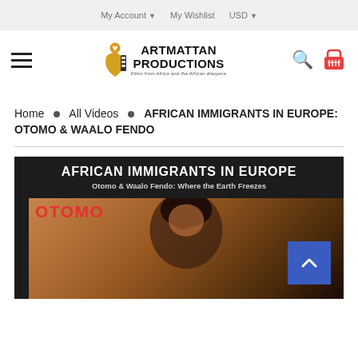My Account  My Wishlist  USD
[Figure (logo): Artmattan Productions logo with Africa continent icon. Text: ARTMATTAN PRODUCTIONS, Films from Africa and the African diaspora]
Home • All Videos • AFRICAN IMMIGRANTS IN EUROPE: OTOMO & WAALO FENDO
[Figure (photo): Product image for African Immigrants in Europe: Otomo & Waalo Fendo. Dark background with large bold white text 'AFRICAN IMMIGRANTS IN EUROPE' and subtitle 'Otomo & Waalo Fendo: Where the Earth Freezes'. Red text 'OTOMO' overlays a photo of a person with dark curly hair against an orange-brown background. Blue scroll-to-top button in lower right corner.]